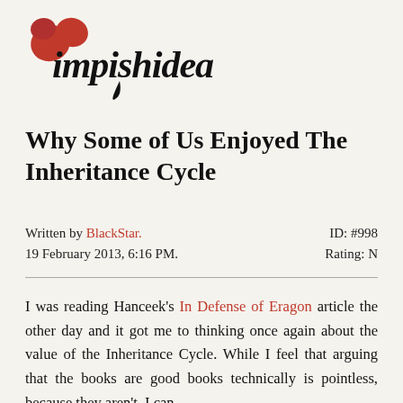[Figure (logo): ImpishIdea blog logo with red heart/flower shapes and decorative black calligraphic text]
Why Some of Us Enjoyed The Inheritance Cycle
Written by BlackStar. ID: #998
19 February 2013, 6:16 PM. Rating: N
I was reading Hanceek's In Defense of Eragon article the other day and it got me to thinking once again about the value of the Inheritance Cycle. While I feel that arguing that the books are good books technically is pointless, because they aren't, I can